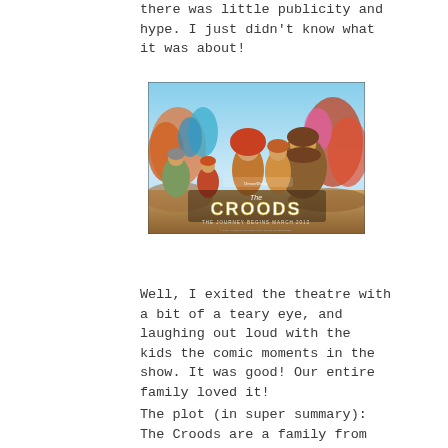there was little publicity and hype. I just didn't know what it was about!
[Figure (photo): Movie poster for 'The Croods' animated film by DreamWorks Animation, showing the prehistoric family of characters running together with colorful background. Text reads 'The Croods' and 'THE JOURNEY BEGINS MARCH 2013'.]
Well, I exited the theatre with a bit of a teary eye, and laughing out loud with the kids the comic moments in the show. It was good! Our entire family loved it!
The plot (in super summary): The Croods are a family from long ago, literally cavemen.